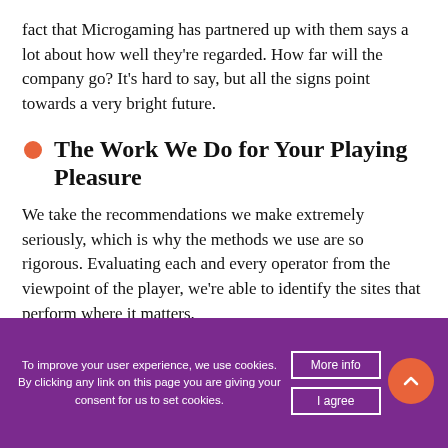fact that Microgaming has partnered up with them says a lot about how well they're regarded. How far will the company go? It's hard to say, but all the signs point towards a very bright future.
The Work We Do for Your Playing Pleasure
We take the recommendations we make extremely seriously, which is why the methods we use are so rigorous. Evaluating each and every operator from the viewpoint of the player, we're able to identify the sites that perform where it matters.
The many metrics we analyze include:
To improve your user experience, we use cookies. By clicking any link on this page you are giving your consent for us to set cookies.